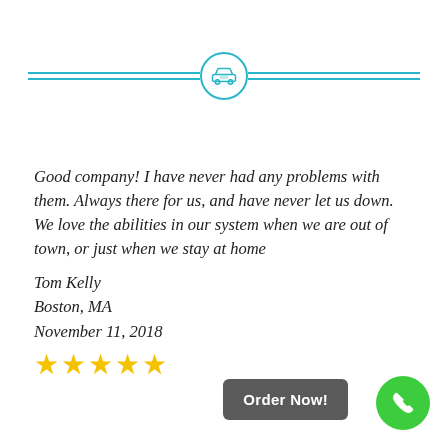[Figure (illustration): Decorative divider with two horizontal teal lines and a teal car icon in a circle in the center]
Good company! I have never had any problems with them. Always there for us, and have never let us down. We love the abilities in our system when we are out of town, or just when we stay at home
Tom Kelly
Boston, MA
November 11, 2018
[Figure (illustration): Five yellow star rating icons]
Order Now!
[Figure (illustration): Green circular phone/call button]